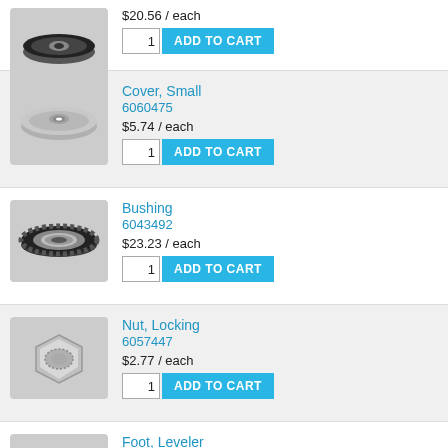[Figure (photo): Black rubber wheel/caster part, top view]
$20.56 / each
1  ADD TO CART
[Figure (photo): Gray metal cover disc, small, with center hole]
Cover, Small
6060475
$5.74 / each
1  ADD TO CART
[Figure (photo): Black plastic bushing with toothed perimeter and metal center]
Bushing
6043492
$23.23 / each
1  ADD TO CART
[Figure (photo): Silver locking nut, top view]
Nut, Locking
6057447
$2.77 / each
1  ADD TO CART
[Figure (photo): Black rubber leveler foot with metal bolt]
Foot, Leveler
6042313
$8.85 / each